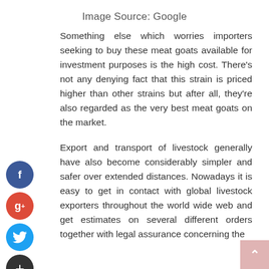Image Source: Google
Something else which worries importers seeking to buy these meat goats available for investment purposes is the high cost. There's not any denying fact that this strain is priced higher than other strains but after all, they're also regarded as the very best meat goats on the market.
Export and transport of livestock generally have also become considerably simpler and safer over extended distances. Nowadays it is easy to get in contact with global livestock exporters throughout the world wide web and get estimates on several different orders together with legal assurance concerning the